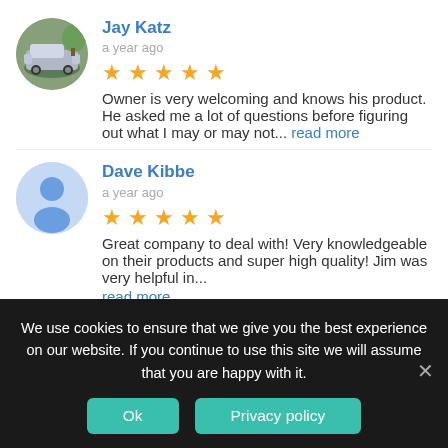Jay Katz
a year ago
Owner is very welcoming and knows his product. He asked me a lot of questions before figuring out what I may or may not... read more
Dave Kibbe
a year ago
Great company to deal with! Very knowledgeable on their products and super high quality! Jim was very helpful in... read more
Ben Miles
a year ago
We use cookies to ensure that we give you the best experience on our website. If you continue to use this site we will assume that you are happy with it.